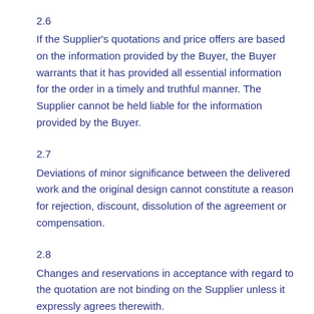2.6
If the Supplier's quotations and price offers are based on the information provided by the Buyer, the Buyer warrants that it has provided all essential information for the order in a timely and truthful manner. The Supplier cannot be held liable for the information provided by the Buyer.
2.7
Deviations of minor significance between the delivered work and the original design cannot constitute a reason for rejection, discount, dissolution of the agreement or compensation.
2.8
Changes and reservations in acceptance with regard to the quotation are not binding on the Supplier unless it expressly agrees therewith.